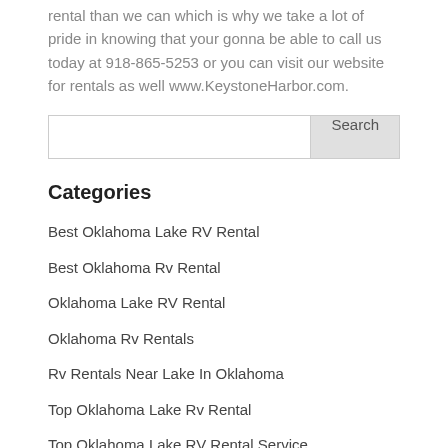rental than we can which is why we take a lot of pride in knowing that your gonna be able to call us today at 918-865-5253 or you can visit our website for rentals as well www.KeystoneHarbor.com.
Categories
Best Oklahoma Lake RV Rental
Best Oklahoma Rv Rental
Oklahoma Lake RV Rental
Oklahoma Rv Rentals
Rv Rentals Near Lake In Oklahoma
Top Oklahoma Lake Rv Rental
Top Oklahoma Lake RV Rental Service